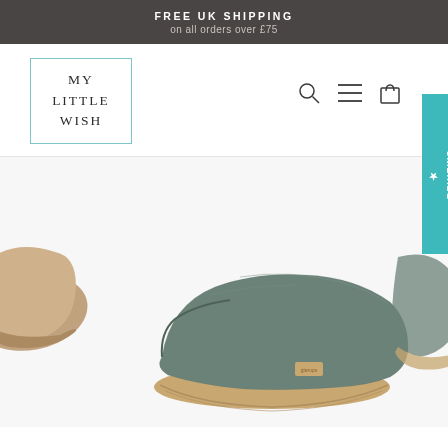FREE UK SHIPPING on all orders over £75
[Figure (logo): My Little Wish brand logo in teal border box with text MY LITTLE WISH]
[Figure (photo): Green/grey felt wool slippers with rubber gum sole displayed on white background, center slipper shown in full, partial slippers visible on left and right edges]
★ REVIEWS